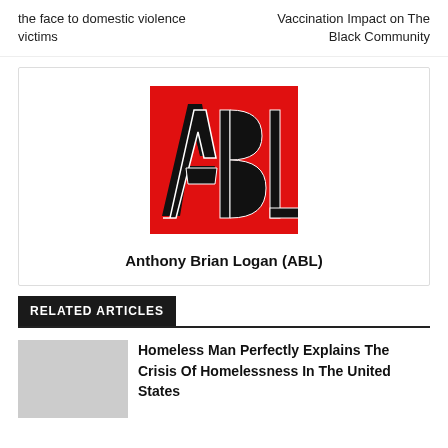the face to domestic violence victims
Vaccination Impact on The Black Community
[Figure (logo): ABL logo: red square background with stylized black-and-white letters ABL]
Anthony Brian Logan (ABL)
RELATED ARTICLES
Homeless Man Perfectly Explains The Crisis Of Homelessness In The United States